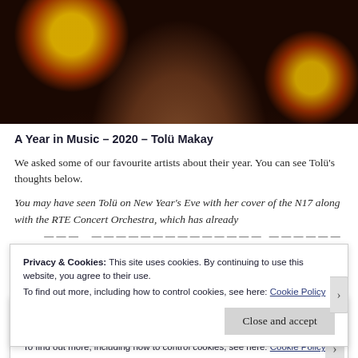[Figure (photo): Close-up photo of a smiling Black woman with braided hair against a dark background with red and yellow/orange stage lights]
A Year in Music – 2020 – Tolü Makay
We asked some of our favourite artists about their year. You can see Tolü's thoughts below.
You may have seen Tolü on New Year's Eve with her cover of the N17 along with the RTE Concert Orchestra, which has already
Privacy & Cookies: This site uses cookies. By continuing to use this website, you agree to their use.
To find out more, including how to control cookies, see here: Cookie Policy
Close and accept